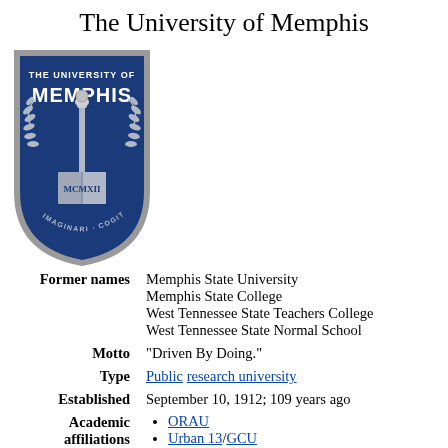The University of Memphis
[Figure (logo): The University of Memphis shield logo in blue with silver/gray border. Features an open book with MCMXII, a torch, laurel wreath, and the text 'THE UNIVERSITY OF MEMPHIS' at top and 'IMAGINARI COGITARE FACERE' around the bottom.]
| Former names | Memphis State University
Memphis State College
West Tennessee State Teachers College
West Tennessee State Normal School |
| Motto | "Driven By Doing." |
| Type | Public research university |
| Established | September 10, 1912; 109 years ago |
| Academic affiliations | ORAU
Urban 13/GCU
SURA |
| Endowment | $554.5 million (2020)[1] |